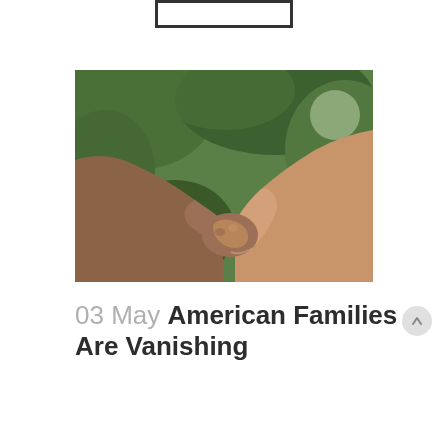[Figure (logo): Rectangular logo box outline at top center]
[Figure (photo): Two people of different skin tones holding hands together against a blurred green outdoor/nature background]
03 May American Families Are Vanishing